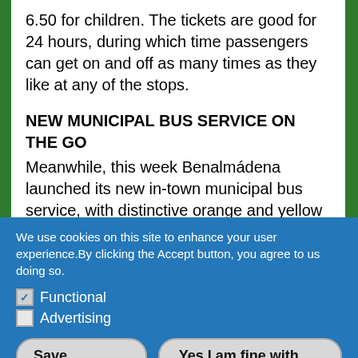6.50 for children. The tickets are good for 24 hours, during which time passengers can get on and off as many times as they like at any of the stops.
NEW MUNICIPAL BUS SERVICE ON THE GO
Meanwhile, this week Benalmádena launched its new in-town municipal bus service, with distinctive orange and yellow buses running three routes to connect the town's different urban
We use cookies on this site to enhance your user experience.By clicking the Accept button, you agree to us doing so.
Functional
Advertising
Save preferences
Yes I am fine with cookies